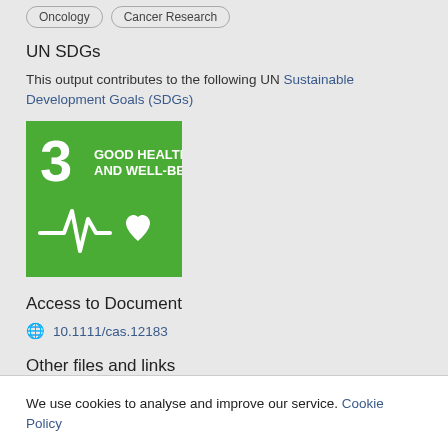Oncology
Cancer Research
UN SDGs
This output contributes to the following UN Sustainable Development Goals (SDGs)
[Figure (logo): UN SDG 3 - Good Health and Well-Being badge. Green square with number 3, text GOOD HEALTH AND WELL-BEING, and a white heartbeat/health icon with heart symbol.]
Access to Document
10.1111/cas.12183
Other files and links
We use cookies to analyse and improve our service. Cookie Policy